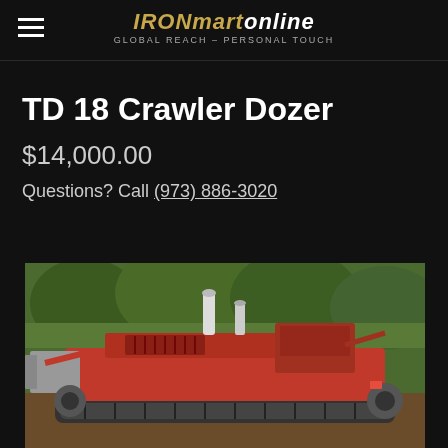IRONmartonline — GLOBAL REACH – PERSONAL TOUCH
TD 18 Crawler Dozer
$14,000.00
Questions? Call (973) 886-3020
[Figure (photo): Red TD 18 Crawler Dozer photographed outdoors with green trees in background. Front view showing the engine hood, exhaust stacks, and front blade attachment.]